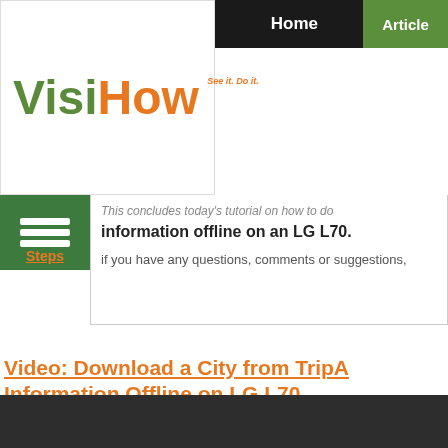[Figure (logo): VisiHow logo with tagline 'See it. Do it.' in orange and green]
Home | Articles
This concludes today's tutorial on how to do... information offline on an LG L70.
Steps
if you have any questions, comments or suggestions,
Video: Download a City from TripA... Information Offline on LG L70
[Figure (screenshot): Dark video player area]